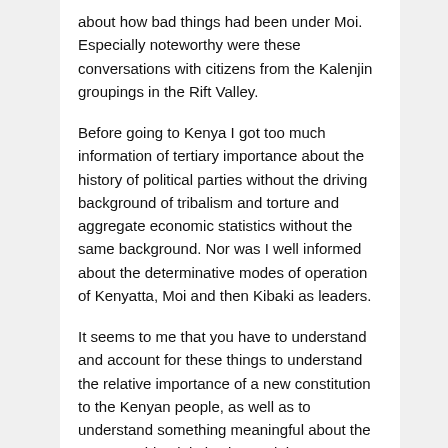about how bad things had been under Moi. Especially noteworthy were these conversations with citizens from the Kalenjin groupings in the Rift Valley.
Before going to Kenya I got too much information of tertiary importance about the history of political parties without the driving background of tribalism and torture and aggregate economic statistics without the same background. Nor was I well informed about the determinative modes of operation of Kenyatta, Moi and then Kibaki as leaders.
It seems to me that you have to understand and account for these things to understand the relative importance of a new constitution to the Kenyan people, as well as to understand something meaningful about the 2007 presidential election and the misconduct of Kenyan authorities, and the multiple different types of violence in different places in the wake of the stolen election. Then you can read the Waki Commission report on the post-election violence and make sense of the ethnic “body